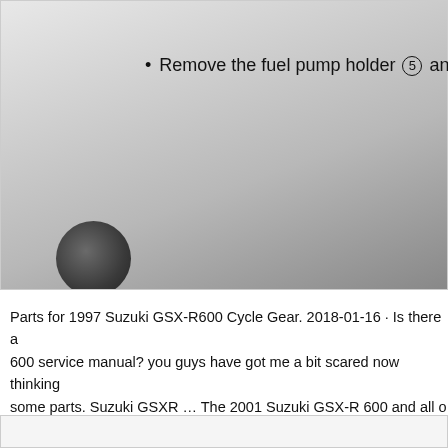[Figure (photo): A technical diagram or photo showing a mechanical component (fuel pump area) with a dark circular element visible on the left side. The image has a gradient gray background.]
Remove the fuel pump holder ⑤ and r
Parts for 1997 Suzuki GSX-R600 Cycle Gear. 2018-01-16 · Is there a 600 service manual? you guys have got me a bit scared now thinking some parts. Suzuki GSXR … The 2001 Suzuki GSX-R 600 and all o 2018. Specifications. Pictures. Rating. Discussions..
[Figure (photo): Bottom partial image/box, partially visible at bottom of page.]